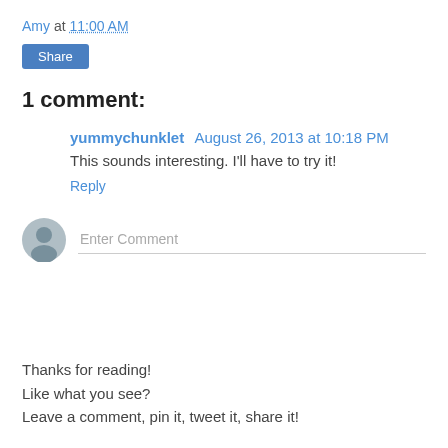Amy at 11:00 AM
[Figure (other): Share button - blue rounded rectangle with white text 'Share']
1 comment:
yummychunklet  August 26, 2013 at 10:18 PM
This sounds interesting. I'll have to try it!
Reply
[Figure (other): Comment input area with avatar icon and 'Enter Comment' placeholder text]
Thanks for reading!
Like what you see?
Leave a comment, pin it, tweet it, share it!